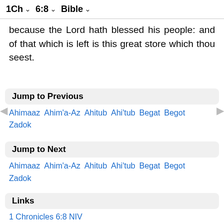1Ch   6:8   Bible
because the Lord hath blessed his people: and of that which is left is this great store which thou seest.
Jump to Previous
Ahimaaz  Ahim'a-Az  Ahitub  Ahi'tub  Begat  Begot  Zadok
Jump to Next
Ahimaaz  Ahim'a-Az  Ahitub  Ahi'tub  Begat  Begot  Zadok
Links
1 Chronicles 6:8 NIV
1 Chronicles 6:8 NLT